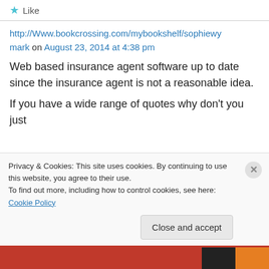★ Like
http://Www.bookcrossing.com/mybookshelf/sophiéwymark on August 23, 2014 at 4:38 pm
Web based insurance agent software up to date since the insurance agent is not a reasonable idea.
If you have a wide range of quotes why don't you just
Privacy & Cookies: This site uses cookies. By continuing to use this website, you agree to their use.
To find out more, including how to control cookies, see here: Cookie Policy
Close and accept